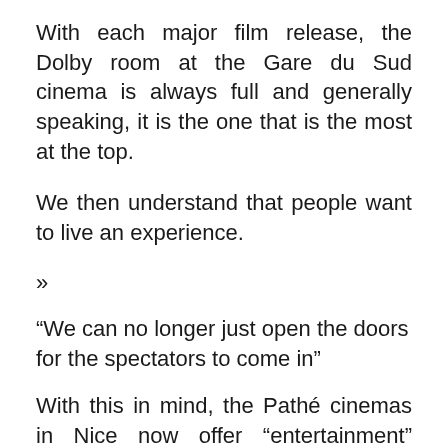With each major film release, the Dolby room at the Gare du Sud cinema is always full and generally speaking, it is the one that is the most at the top.
We then understand that people want to live an experience.
»
“We can no longer just open the doors for the spectators to come in”
With this in mind, the Pathé cinemas in Nice now offer “entertainment” around film releases.
The director resumes: “For the release of the last “Top Gun”, we thought about different